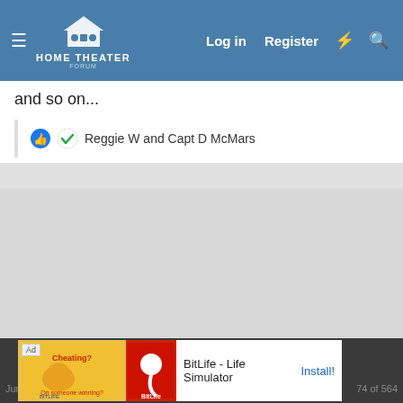Home Theater Forum — Log in | Register
and so on...
Reggie W and Capt D McMars
[Figure (screenshot): Gray empty content area]
Jun 14, 20... | 74 of 564 | Ad: BitLife - Life Simulator — Install!